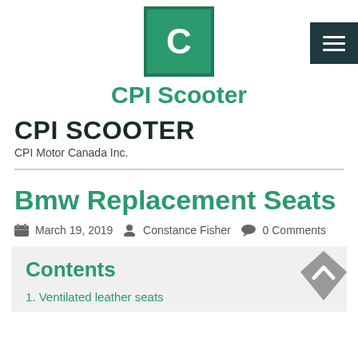[Figure (logo): CPI Scooter logo: green square with white letter C, with site name 'CPI Scooter' below in green]
CPI Scooter
[Figure (other): Dark teal hamburger menu button with three horizontal white lines]
CPI SCOOTER
CPI Motor Canada Inc.
Bmw Replacement Seats
March 19, 2019  Constance Fisher  0 Comments
Contents
1. Ventilated leather seats